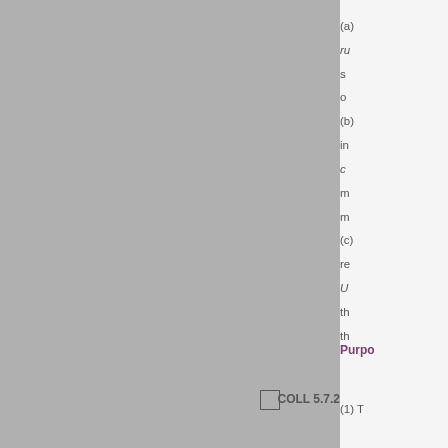(a) ru s o (b) in c m m (c) re U th th
Purpo
COLL 5.7.2
(1) T